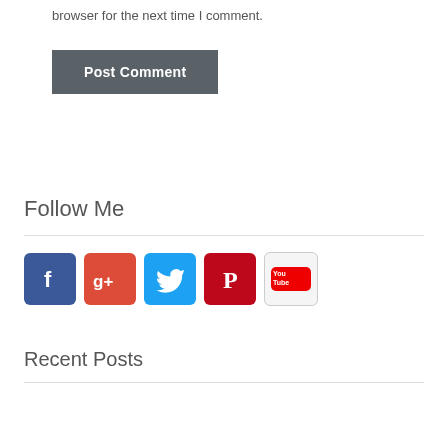browser for the next time I comment.
Post Comment
Follow Me
[Figure (infographic): Row of 5 social media icon buttons: Facebook (blue), Google+ (red), Twitter (cyan/blue), Pinterest (red/pink), YouTube (light gray with red YouTube logo)]
Recent Posts